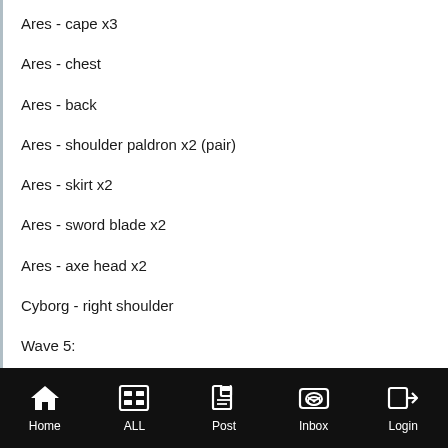Ares - cape x3
Ares - chest
Ares - back
Ares - shoulder paldron x2 (pair)
Ares - skirt x2
Ares - sword blade x2
Ares - axe head x2
Cyborg - right shoulder
Wave 5:
Eradicator - abdomen, upper torso & shoulders (major paint wear)
Wave 6:
Home  ALL  Post  Inbox  Login